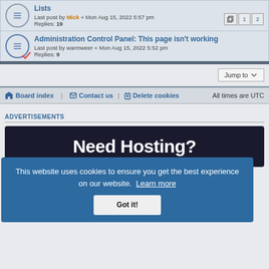Lists — Last post by Mick « Mon Aug 15, 2022 5:57 pm — Replies: 19
Administration Control Panel: This page isn't working — Last post by warmweer « Mon Aug 15, 2022 5:52 pm — Replies: 9
Jump to
Board index   Contact us   Delete cookies   All times are UTC
ADVERTISEMENTS
[Figure (screenshot): Advertisement banner with dark background showing 'Need Hosting?' text]
This website uses cookies to ensure you get the best experience on our website. Learn more
Got it!